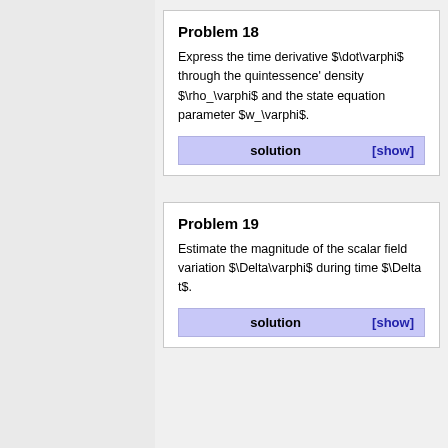Problem 18
Express the time derivative $\dot\varphi$ through the quintessence' density $\rho_\varphi$ and the state equation parameter $w_\varphi$.
Problem 19
Estimate the magnitude of the scalar field variation $\Delta\varphi$ during time $\Delta t$.